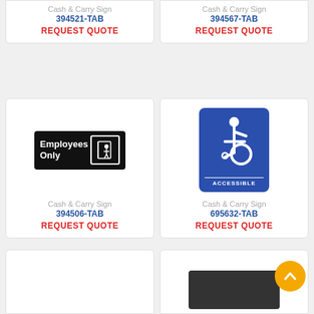Cash & Carry Sign
394521-TAB
REQUEST QUOTE
Cash & Carry Sign
394567-TAB
REQUEST QUOTE
[Figure (photo): Black Employees Only sign with door icon]
Cash & Carry Sign
394506-TAB
REQUEST QUOTE
[Figure (photo): Blue Accessible sign with wheelchair icon]
Cash & Carry Sign
695632-TAB
REQUEST QUOTE